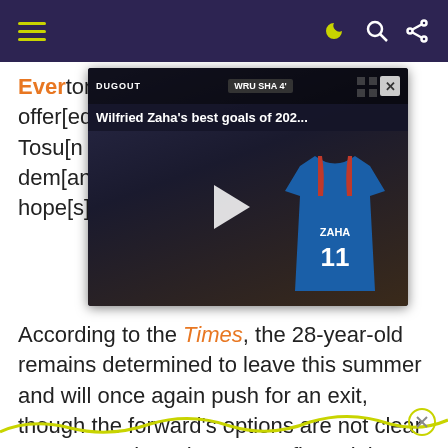navigation header with hamburger menu and icons
Ever[ton] [made an] offer[ to sign] Tosu[n who] [Palace] dems [for] any hope[s]
[Figure (screenshot): Video overlay showing 'Wilfried Zaha's best goals of 202...' with a play button and Crystal Palace jersey with number 11 ZAHA]
According to the Times, the 28-year-old remains determined to leave this summer and will once again push for an exit, though the forward's options are not clear at present given the current financial climate.